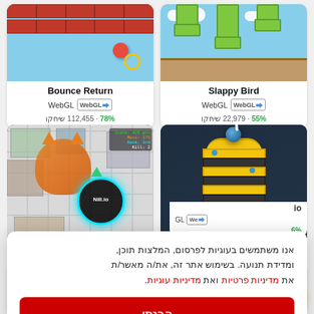[Figure (screenshot): Slappy Bird game screenshot showing green pipes on a sky and sandy ground background]
Slappy Bird
WebGL
55% · 22,979 שיחקו
[Figure (screenshot): Bounce Return game screenshot showing red bricks, a red ball and a golden ring on sky blue background]
Bounce Return
WebGL
78% · 112,455 שיחקו
[Figure (screenshot): Helix Jump style 3D game with yellow and black ribbed cylinder and blue ball]
[Figure (screenshot): Agar.io style top-down city map game with a cat character and circular player cell]
אנו משתמשים בעוגיות לפרסום, המלצות תוכן, ומדידת תנועה. בשימוש אתר זה, את/ה מאשר/ת את מדיניות פרטיות ואת מדיניות עוגיות.
הבנתי